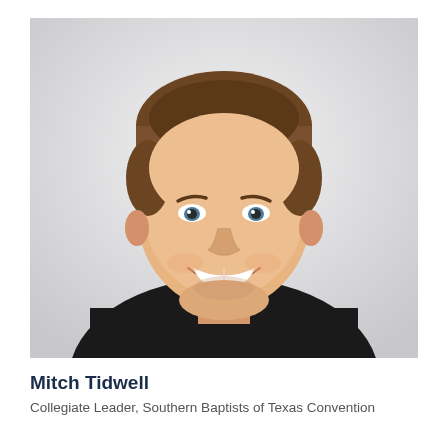[Figure (photo): Professional headshot of Mitch Tidwell, a young man with short brown hair, smiling broadly, wearing a black crew-neck sweater, photographed against a light grey/white background.]
Mitch Tidwell
Collegiate Leader, Southern Baptists of Texas Convention